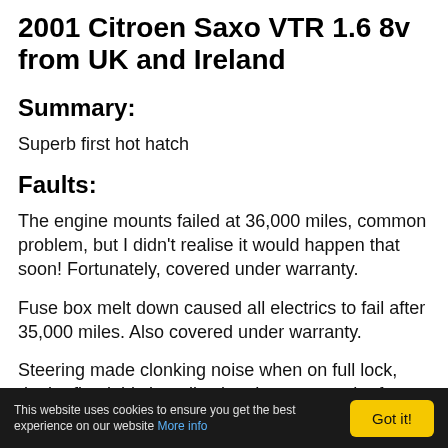2001 Citroen Saxo VTR 1.6 8v from UK and Ireland
Summary:
Superb first hot hatch
Faults:
The engine mounts failed at 36,000 miles, common problem, but I didn't realise it would happen that soon! Fortunately, covered under warranty.
Fuse box melt down caused all electrics to fail after 35,000 miles. Also covered under warranty.
Steering made clonking noise when on full lock, dealer fixed this by adjusting the cups on the front strut mounts, again covered by warranty.
This website uses cookies to ensure you get the best experience on our website More info  Got it!